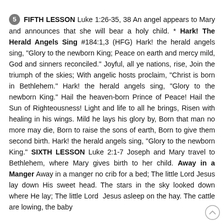5 FIFTH LESSON Luke 1:26-35, 38 An angel appears to Mary and announces that she will bear a holy child. * Hark! The Herald Angels Sing #184:1,3 (HFG) Hark! the herald angels sing, "Glory to the newborn King; Peace on earth and mercy mild, God and sinners reconciled." Joyful, all ye nations, rise, Join the triumph of the skies; With angelic hosts proclaim, "Christ is born in Bethlehem." Hark! the herald angels sing, "Glory to the newborn King." Hail the heaven-born Prince of Peace! Hail the Sun of Righteousness! Light and life to all he brings, Risen with healing in his wings. Mild he lays his glory by, Born that man no more may die, Born to raise the sons of earth, Born to give them second birth. Hark! the herald angels sing, "Glory to the newborn King." SIXTH LESSON Luke 2:1-7 Joseph and Mary travel to Bethlehem, where Mary gives birth to her child. Away in a Manger Away in a manger no crib for a bed; The little Lord Jesus lay down His sweet head. The stars in the sky looked down where He lay; The little Lord Jesus asleep on the hay. The cattle are lowing, the baby